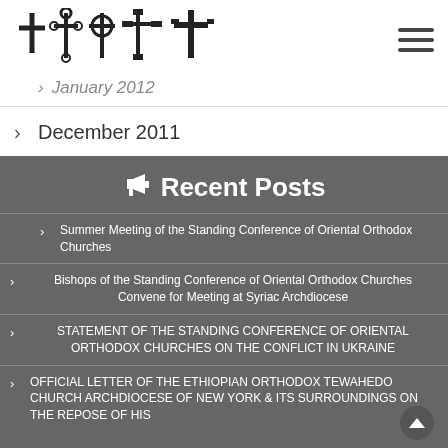[Figure (logo): Cross/religious icons logo in black]
January 2012
December 2011
October 2011
May 2011
October 2010
Recent Posts
Summer Meeting of the Standing Conference of Oriental Orthodox Churches
Bishops of the Standing Conference of Oriental Orthodox Churches Convene for Meeting at Syriac Archdiocese
STATEMENT OF THE STANDING CONFERENCE OF ORIENTAL ORTHODOX CHURCHES ON THE CONFLICT IN UKRAINE
OFFICIAL LETTER OF THE ETHIOPIAN ORTHODOX TEWAHEDO CHURCH ARCHDIOCESE OF NEW YORK & ITS SURROUNDINGS ON THE REPOSE OF HIS